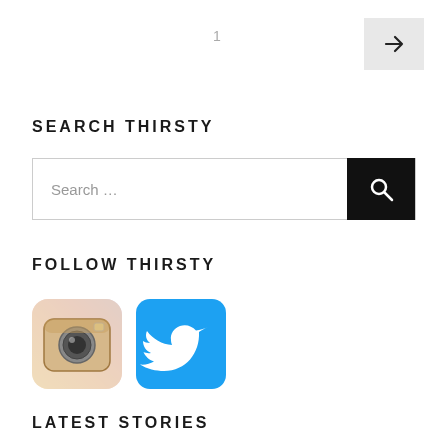1
[Figure (other): Navigation arrow button pointing right, light gray background]
SEARCH THIRSTY
[Figure (other): Search input field with black search button containing magnifying glass icon]
FOLLOW THIRSTY
[Figure (other): Instagram icon (colorful camera) and Twitter icon (blue bird)]
LATEST STORIES